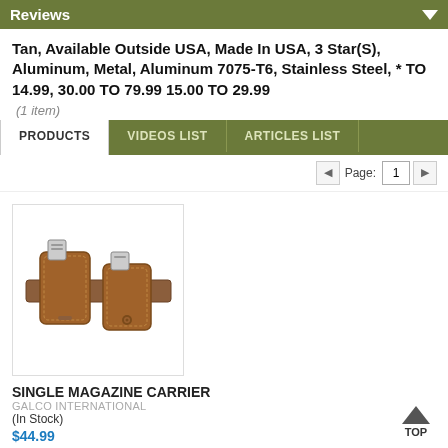Reviews
Tan, Available Outside USA, Made In USA, 3 Star(S), Aluminum, Metal, Aluminum 7075-T6, Stainless Steel, * TO 14.99, 30.00 TO 79.99 15.00 TO 29.99
(1 item)
PRODUCTS | VIDEOS LIST | ARTICLES LIST
Page: 1
[Figure (photo): Brown leather single magazine carrier holster showing two magazine slots on a belt strip]
SINGLE MAGAZINE CARRIER
GALCO INTERNATIONAL
(In Stock)
$44.99